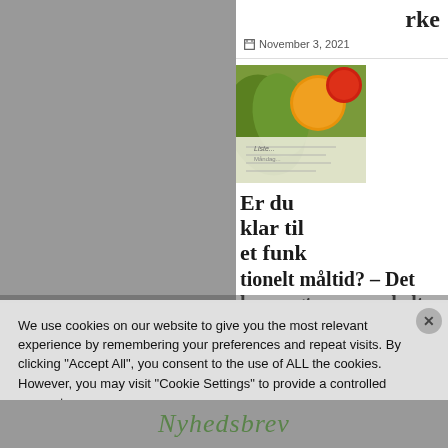rke
November 3, 2021
[Figure (photo): Food image showing vegetables and fruits (green leaf, orange, tomatoes) with a paper/list in the foreground]
Er du klar til et funktionelt måltid? – Det kan sagtens være helt naturligt
November 3, 2021
We use cookies on our website to give you the most relevant experience by remembering your preferences and repeat visits. By clicking "Accept All", you consent to the use of ALL the cookies. However, you may visit "Cookie Settings" to provide a controlled consent.
Cookie Settings
Accept All